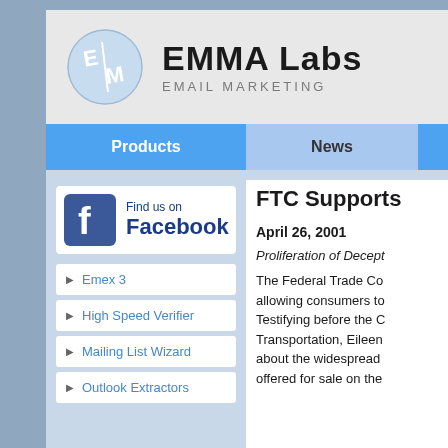[Figure (logo): EMMA Labs Email Marketing logo with circular blue E/M icon and text]
Products | News
[Figure (illustration): Find us on Facebook banner with Facebook icon]
Emex 3
High Speed Verifier
Mailing List Wizard
Outlook Extractors
FTC Supports
April 26, 2001
Proliferation of Decept
The Federal Trade Co allowing consumers to Testifying before the C Transportation, Eileen about the widespread offered for sale on the